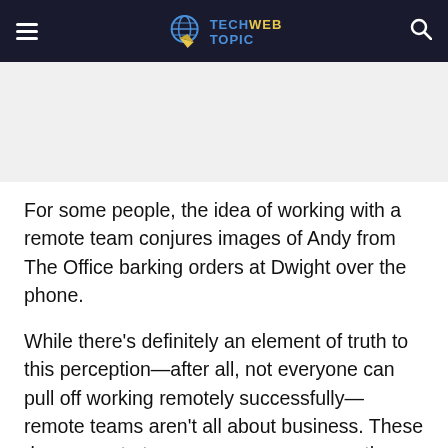TECH WEB TOPIC
For some people, the idea of working with a remote team conjures images of Andy from The Office barking orders at Dwight over the phone.
While there's definitely an element of truth to this perception—after all, not everyone can pull off working remotely successfully—remote teams aren't all about business. These days, remote teams are more common than their traditional